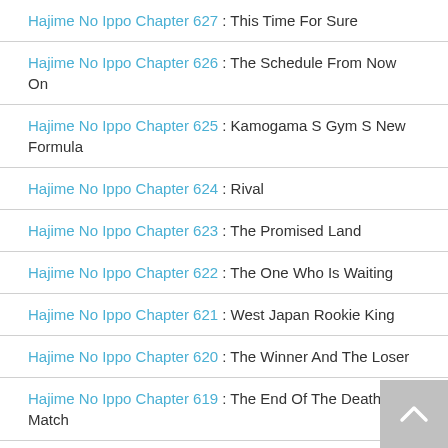Hajime No Ippo Chapter 627 : This Time For Sure
Hajime No Ippo Chapter 626 : The Schedule From Now On
Hajime No Ippo Chapter 625 : Kamogama S Gym S New Formula
Hajime No Ippo Chapter 624 : Rival
Hajime No Ippo Chapter 623 : The Promised Land
Hajime No Ippo Chapter 622 : The One Who Is Waiting
Hajime No Ippo Chapter 621 : West Japan Rookie King
Hajime No Ippo Chapter 620 : The Winner And The Loser
Hajime No Ippo Chapter 619 : The End Of The Death Match
Hajime No Ippo Chapter 618 : Itagaki S Pride
Hajime No Ippo Chapter 617 : What I Ve Seen So Far
Hajime No Ippo Chapter 616 : The Difference Between Imai And Itagaki
Hajime No Ippo Chapter 615 : Within The Fading Consciousness
Hajime No Ippo Chapter 614 : What Ippo Can Do
Hajime No Ippo Chapter 613 : The Figures Of My Senpai